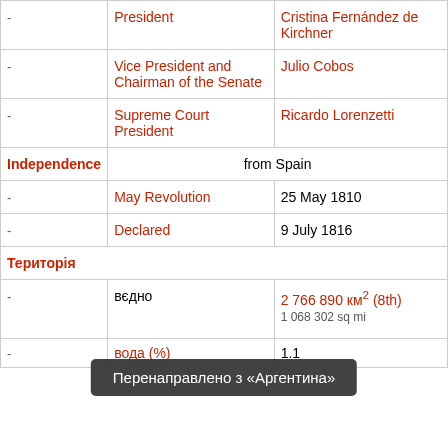| - | President | Cristina Fernández de Kirchner |
| - | Vice President and Chairman of the Senate | Julio Cobos |
| - | Supreme Court President | Ricardo Lorenzetti |
| Independence | from Spain |  |
| - | May Revolution | 25 May 1810 |
| - | Declared | 9 July 1816 |
| Територія |  |  |
| - | вєдно | 2 766 890 км² (8th) |
| - | вода (%) | 1.1 |
Перенаправлено з «Аргентина»